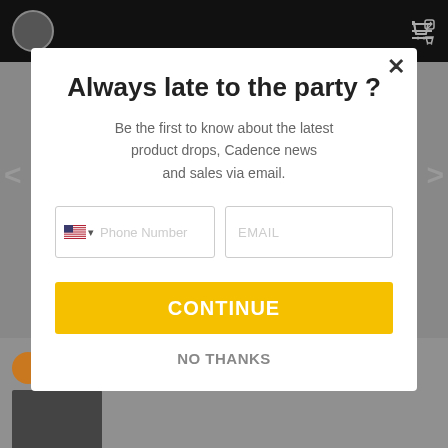[Figure (screenshot): Website background with dark navigation bar, arrow navigation controls, and bottom content area]
Always late to the party ?
Be the first to know about the latest product drops, Cadence news and sales via email.
[Figure (screenshot): Form with phone number field (US flag, dropdown) and EMAIL input field]
CONTINUE
NO THANKS